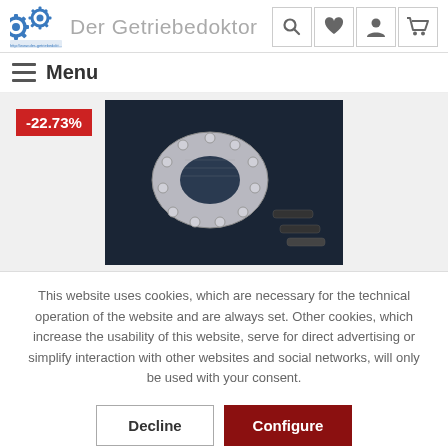Der Getriebedoktor
[Figure (screenshot): Website header with logo (gear icon) and site title 'Der Getriebedoktor', navigation menu bar with hamburger icon and Menu text, icon buttons for search, favorites, account, and cart]
[Figure (photo): Product photo of a metal transmission part (likely a shift plate) with screws on dark background, with a red discount badge showing -22.73%]
This website uses cookies, which are necessary for the technical operation of the website and are always set. Other cookies, which increase the usability of this website, serve for direct advertising or simplify interaction with other websites and social networks, will only be used with your consent.
Decline | Configure